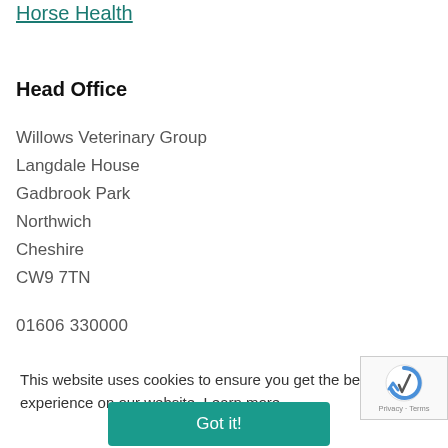Horse Health
Head Office
Willows Veterinary Group
Langdale House
Gadbrook Park
Northwich
Cheshire
CW9 7TN
01606 330000
This website uses cookies to ensure you get the best experience on our website. Learn more
Got it!
© 2022 Willows Veterinary Group. All rights reserved.